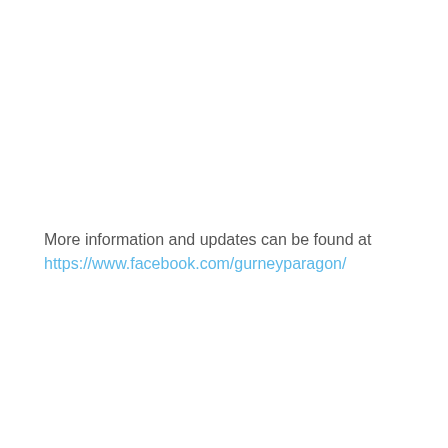More information and updates can be found at https://www.facebook.com/gurneyparagon/